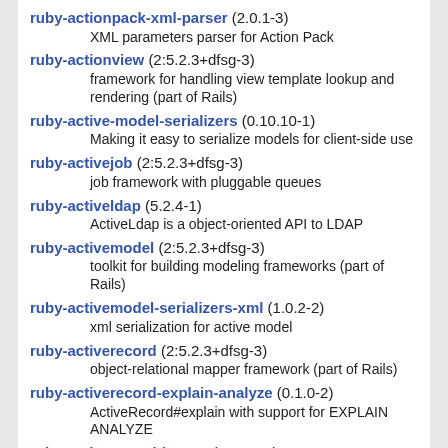ruby-actionpack-xml-parser (2.0.1-3)
    XML parameters parser for Action Pack
ruby-actionview (2:5.2.3+dfsg-3)
    framework for handling view template lookup and rendering (part of Rails)
ruby-active-model-serializers (0.10.10-1)
    Making it easy to serialize models for client-side use
ruby-activejob (2:5.2.3+dfsg-3)
    job framework with pluggable queues
ruby-activeldap (5.2.4-1)
    ActiveLdap is a object-oriented API to LDAP
ruby-activemodel (2:5.2.3+dfsg-3)
    toolkit for building modeling frameworks (part of Rails)
ruby-activemodel-serializers-xml (1.0.2-2)
    xml serialization for active model
ruby-activerecord (2:5.2.3+dfsg-3)
    object-relational mapper framework (part of Rails)
ruby-activerecord-explain-analyze (0.1.0-2)
    ActiveRecord#explain with support for EXPLAIN ANALYZE
ruby-activerecord-import (0.28.2-3)
    Bulk-loading extension for ActiveRecord
ruby-activerecord-nulldb-adapter (0.4.0-1)
    ActiveRecord database adapters based on the